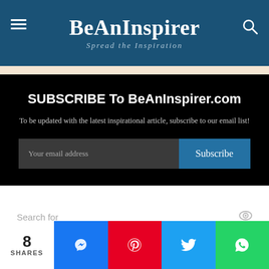BeAnInspirer — Spread the Inspiration
[Figure (screenshot): Subscribe banner with black background: 'SUBSCRIBE To BeAnInspirer.com' heading, subtitle text, email input field and Subscribe button]
Search for
1. 9TH GRADE SCHOOL SUPPLY LIST
[Figure (infographic): Social share bar with 8 SHARES count, Messenger (blue), Pinterest (red), Twitter (cyan), WhatsApp (green) buttons]